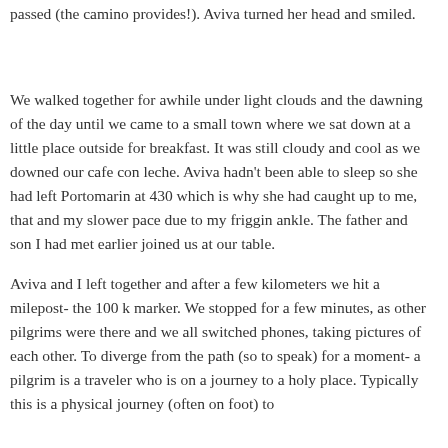passed (the camino provides!). Aviva turned her head and smiled.
We walked together for awhile under light clouds and the dawning of the day until we came to a small town where we sat down at a little place outside for breakfast. It was still cloudy and cool as we downed our cafe con leche. Aviva hadn't been able to sleep so she had left Portomarin at 430 which is why she had caught up to me, that and my slower pace due to my friggin ankle. The father and son I had met earlier joined us at our table.
Aviva and I left together and after a few kilometers we hit a milepost- the 100 k marker. We stopped for a few minutes, as other pilgrims were there and we all switched phones, taking pictures of each other. To diverge from the path (so to speak) for a moment- a pilgrim is a traveler who is on a journey to a holy place. Typically this is a physical journey (often on foot) to